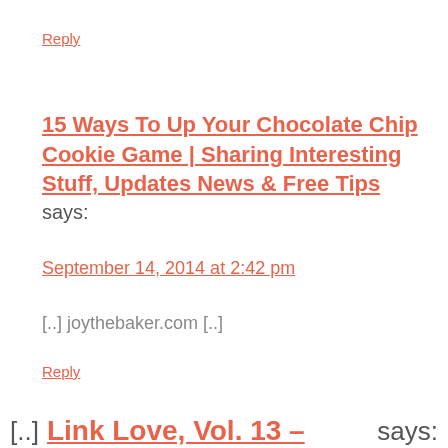Reply
15 Ways To Up Your Chocolate Chip Cookie Game | Sharing Interesting Stuff, Updates News & Free Tips says:
September 14, 2014 at 2:42 pm
[..] joythebaker.com [..]
Reply
[..] Link Love, Vol. 13 - musicalpoem says: am September 6, 2014 at 8:32 pm
very much intrigued by Joy's buttered popcorn chocolate chip cookie [..]